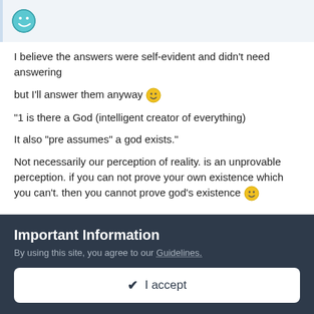[Figure (illustration): Smiley face emoji with blue outline style in a light blue-grey header bar]
I believe the answers were self-evident and didn't need answering
but I'll answer them anyway 🙂
"1 is there a God (intelligent creator of everything)
It also "pre assumes" a god exists."
Not necessarily our perception of reality. is an unprovable perception. if you can not prove your own existence which you can't. then you cannot prove god's existence 🙂
Important Information
By using this site, you agree to our Guidelines.
✔ I accept